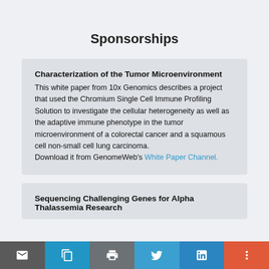Sponsorships
Characterization of the Tumor Microenvironment
This white paper from 10x Genomics describes a project that used the Chromium Single Cell Immune Profiling Solution to investigate the cellular heterogeneity as well as the adaptive immune phenotype in the tumor microenvironment of a colorectal cancer and a squamous cell non-small cell lung carcinoma.
Download it from GenomeWeb's White Paper Channel.
Sequencing Challenging Genes for Alpha Thalassemia Research
email | link | print | twitter | linkedin | more